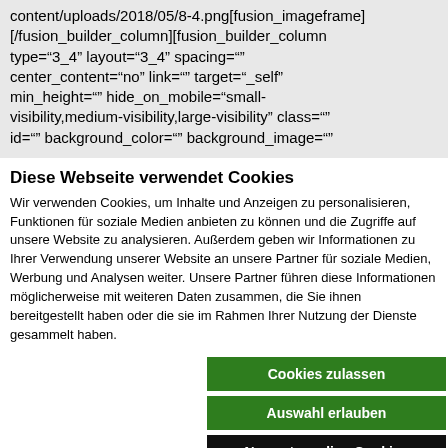content/uploads/2018/05/8-4.png[fusion_imageframe][/fusion_builder_column][fusion_builder_column type="3_4" layout="3_4" spacing="" center_content="no" link="" target="_self" min_height="" hide_on_mobile="small-visibility,medium-visibility,large-visibility" class="" id="" background_color="" background_image=""
Diese Webseite verwendet Cookies
Wir verwenden Cookies, um Inhalte und Anzeigen zu personalisieren, Funktionen für soziale Medien anbieten zu können und die Zugriffe auf unsere Website zu analysieren. Außerdem geben wir Informationen zu Ihrer Verwendung unserer Website an unsere Partner für soziale Medien, Werbung und Analysen weiter. Unsere Partner führen diese Informationen möglicherweise mit weiteren Daten zusammen, die Sie ihnen bereitgestellt haben oder die sie im Rahmen Ihrer Nutzung der Dienste gesammelt haben.
Cookies zulassen
Auswahl erlauben
Nur notwendige Cookies
Notwendig  Präferenzen  Statistiken  Marketing  Details zeigen